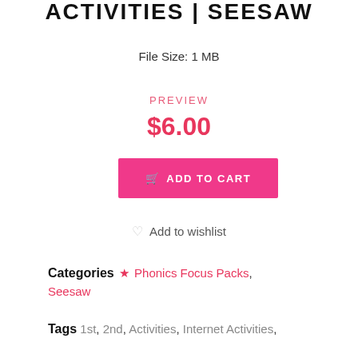ACTIVITIES | SEESAW
File Size: 1 MB
PREVIEW
$6.00
ADD TO CART
Add to wishlist
Categories ★ Phonics Focus Packs, Seesaw
Tags 1st, 2nd, Activities, Internet Activities,